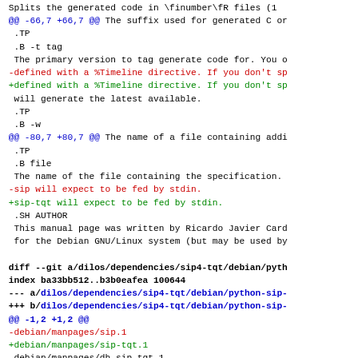Splits the generated code in \finumber\fR files (1
@@ -66,7 +66,7 @@ The suffix used for generated C or
 .TP
 .B -t tag
 The primary version to tag generate code for. You o
-defined with a %Timeline directive. If you don't sp
+defined with a %Timeline directive. If you don't sp
 will generate the latest available.
 .TP
 .B -w
@@ -80,7 +80,7 @@ The name of a file containing addi
 .TP
 .B file
 The name of the file containing the specification.
-sip will expect to be fed by stdin.
+sip-tqt will expect to be fed by stdin.
 .SH AUTHOR
 This manual page was written by Ricardo Javier Card
 for the Debian GNU/Linux system (but may be used by

diff --git a/dilos/dependencies/sip4-tqt/debian/pyth
index ba33bb512..b3b0eafea 100644
--- a/dilos/dependencies/sip4-tqt/debian/python-sip-
+++ b/dilos/dependencies/sip4-tqt/debian/python-sip-
@@ -1,2 +1,2 @@
-debian/manpages/sip.1
+debian/manpages/sip-tqt.1
 debian/manpages/dh_sip_tqt.1

diff --git a/dilos/dependencies/sip4-tqt/debian/pyth
index 0638e8914..bfe1b27f6 100644